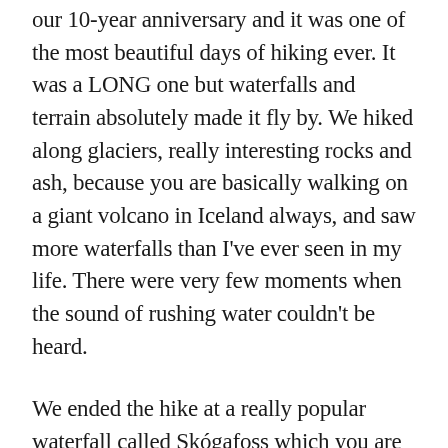our 10-year anniversary and it was one of the most beautiful days of hiking ever. It was a LONG one but waterfalls and terrain absolutely made it fly by. We hiked along glaciers, really interesting rocks and ash, because you are basically walking on a giant volcano in Iceland always, and saw more waterfalls than I've ever seen in my life. There were very few moments when the sound of rushing water couldn't be heard.
We ended the hike at a really popular waterfall called Skógafoss which you are able to drive up to. It's always interesting to me when I've hiked a long time and finally get to a destination and that